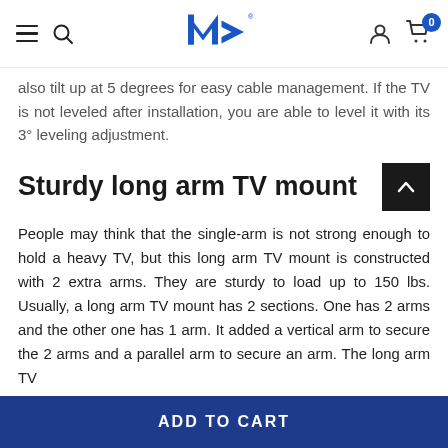Navigation header with hamburger menu, search icon, MA logo, user icon, and cart with badge 0
also tilt up at 5 degrees for easy cable management. If the TV is not leveled after installation, you are able to level it with its 3° leveling adjustment.
Sturdy long arm TV mount
People may think that the single-arm is not strong enough to hold a heavy TV, but this long arm TV mount is constructed with 2 extra arms. They are sturdy to load up to 150 lbs. Usually, a long arm TV mount has 2 sections. One has 2 arms and the other one has 1 arm. It added a vertical arm to secure the 2 arms and a parallel arm to secure an arm. The long arm TV
ADD TO CART